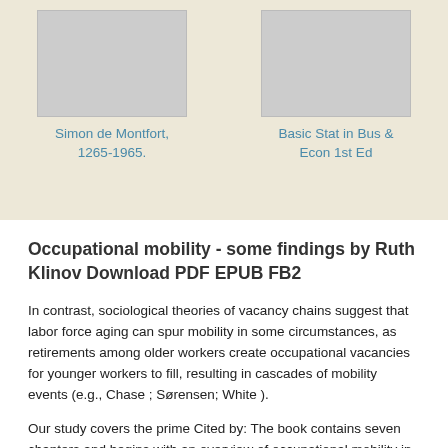[Figure (illustration): Book cover placeholder for Simon de Montfort, 1265-1965 — grey rectangle]
Simon de Montfort, 1265-1965.
[Figure (illustration): Book cover placeholder for Basic Stat in Bus & Econ 1st Ed — grey rectangle]
Basic Stat in Bus & Econ 1st Ed
Occupational mobility - some findings by Ruth Klinov Download PDF EPUB FB2
In contrast, sociological theories of vacancy chains suggest that labor force aging can spur mobility in some circumstances, as retirements among older workers create occupational vacancies for younger workers to fill, resulting in cascades of mobility events (e.g., Chase ; Sørensen; White ).
Our study covers the prime Cited by: The book contains seven chapters and begins with an overview of occupational mobility in the United States. The next chapter considers previous attempts to test the dual labor market hypothesis and presents a model of